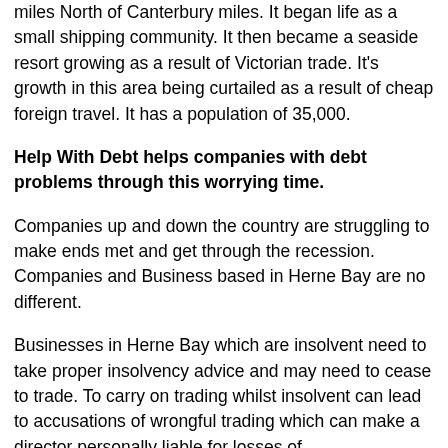miles North of Canterbury miles. It began life as a small shipping community. It then became a seaside resort growing as a result of Victorian trade. It's growth in this area being curtailed as a result of cheap foreign travel. It has a population of 35,000.
Help With Debt helps companies with debt problems through this worrying time.
Companies up and down the country are struggling to make ends meet and get through the recession. Companies and Business based in Herne Bay are no different.
Businesses in Herne Bay which are insolvent need to take proper insolvency advice and may need to cease to trade. To carry on trading whilst insolvent can lead to accusations of wrongful trading which can make a director personally liable for losses of the...